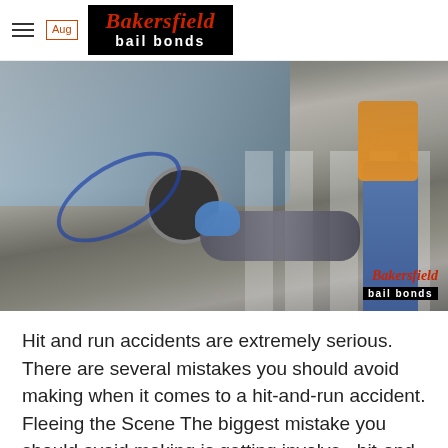Bakersfield bail bonds
[Figure (photo): A person lying on a crosswalk after being hit by a car, with a bicycle also on the ground. Another person wearing an orange vest and blue gloves is standing over them. A vehicle is visible in the background. A Bakersfield Bail Bonds watermark appears in the bottom right of the image.]
Hit and run accidents are extremely serious. There are several mistakes you should avoid making when it comes to a hit-and-run accident. Fleeing the Scene The biggest mistake you should avoid making is getting involved hit-and-run accident. Accidents happen. And while it's perfectly natural to want to flee the scene and pretend the